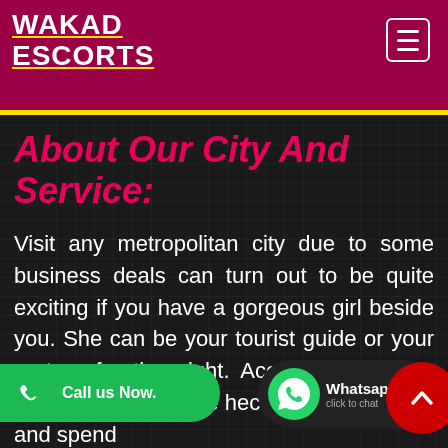WAKAD ESCORTS
About Our City And Service:
Visit any metropolitan city due to some business deals can turn out to be quite exciting if you have a gorgeous girl beside you. She can be your tourist guide or your partner for the night. According to many just love to forget the hectic business deals and spend